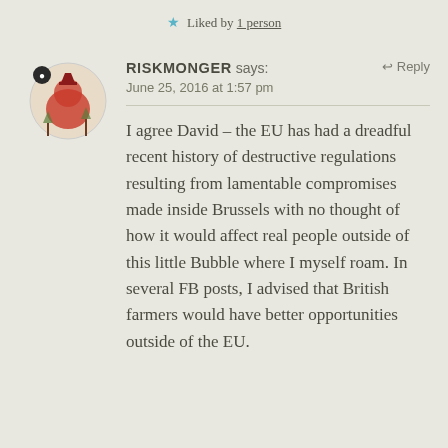★ Liked by 1 person
RISKMONGER says: June 25, 2016 at 1:57 pm
I agree David – the EU has had a dreadful recent history of destructive regulations resulting from lamentable compromises made inside Brussels with no thought of how it would affect real people outside of this little Bubble where I myself roam. In several FB posts, I advised that British farmers would have better opportunities outside of the EU.